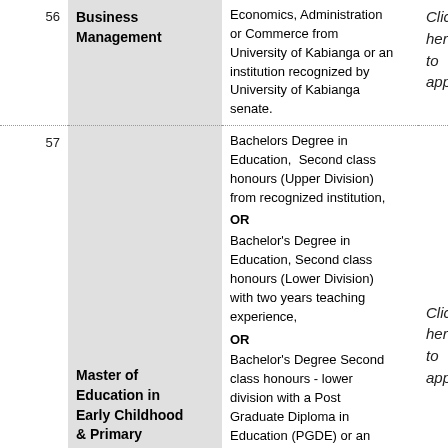| # | Programme | Requirements | Apply |
| --- | --- | --- | --- |
| 56 | Business Management | Economics, Administration or Commerce from University of Kabianga or an institution recognized by University of Kabianga senate. | Click here to apply |
| 57 | Master of Education in Early Childhood & Primary Education. | Bachelors Degree in Education, Second class honours (Upper Division) from recognized institution, OR Bachelor's Degree in Education, Second class honours (Lower Division) with two years teaching experience, OR Bachelor's Degree Second class honours - lower division with a Post Graduate Diploma in Education (PGDE) or an equivalent certificate in | Click here to apply |